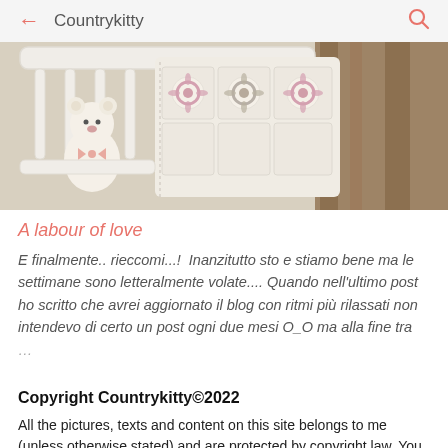← Countrykitty 🔍
[Figure (photo): A white crib with a crocheted granny square blanket in cream with pink flower motifs draped over the railing, and a white stuffed teddy bear sitting inside. Wooden furniture visible in background.]
A labour of love
E finalmente.. rieccomi...!  Inanzitutto sto e stiamo bene ma le settimane sono letteralmente volate.... Quando nell'ultimo post ho scritto che avrei aggiornato il blog con ritmi più rilassati non intendevo di certo un post ogni due mesi O_O ma alla fine tra ...
Copyright Countrykitty©2022
All the pictures, texts and content on this site belongs to me (unless otherwise stated) and are protected by copyright law. You can share my photos for non commercial purposes but only if you credit "Countrykitty" as the source and add a link